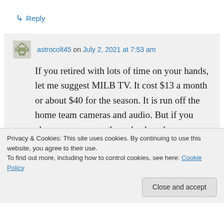↳ Reply
astrocolt45 on July 2, 2021 at 7:53 am
If you retired with lots of time on your hands, let me suggest MILB TV. It cost $13 a month or about $40 for the season. It is run off the home team cameras and audio. But if you choose, you currently go back and see every game of a particular player.
Privacy & Cookies: This site uses cookies. By continuing to use this website, you agree to their use.
To find out more, including how to control cookies, see here: Cookie Policy
Close and accept